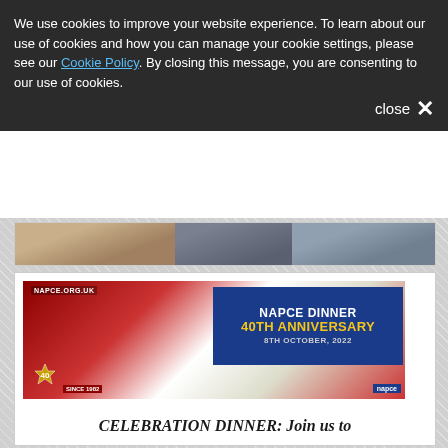We use cookies to improve your website experience. To learn about our use of cookies and how you can manage your cookie settings, please see our Cookie Policy. By closing this message, you are consenting to our use of cookies.
[Figure (photo): Partial image strip showing three people at what appears to be a conference or event, cropped at the top of the page.]
[Figure (photo): NAPCE Dinner 40th Anniversary promotional image showing a banquet hall with red chairs and set tables, overlaid with a blue panel showing 'NAPCE DINNER 40TH ANNIVERSARY 8TH OCTOBER, 2022', NAPCE.ORG.UK watermark, 40th anniversary badge, SINCE 1982 text, and NAPCE logo.]
CELEBRATION DINNER: Join us to